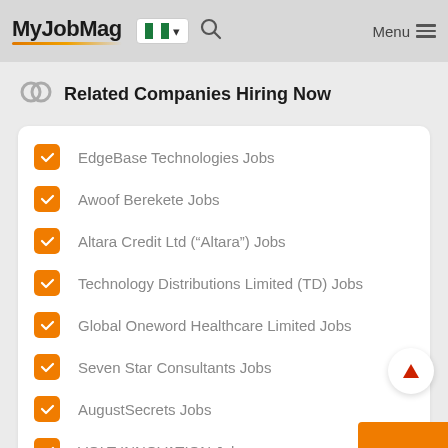MyJobMag — Navigation bar with Nigeria flag, search icon, and Menu
Related Companies Hiring Now
EdgeBase Technologies Jobs
Awoof Berekete Jobs
Altara Credit Ltd ("Altara") Jobs
Technology Distributions Limited (TD) Jobs
Global Oneword Healthcare Limited Jobs
Seven Star Consultants Jobs
AugustSecrets Jobs
VOLT INNOVATION Jobs